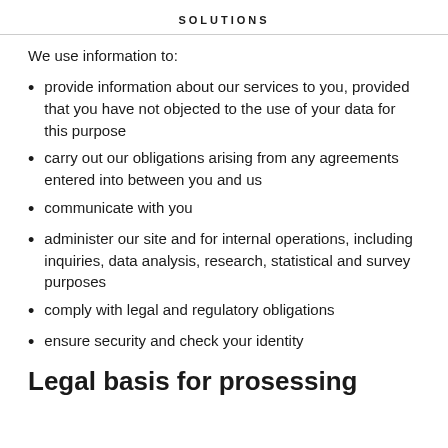SOLUTIONS
We use information to:
provide information about our services to you, provided that you have not objected to the use of your data for this purpose
carry out our obligations arising from any agreements entered into between you and us
communicate with you
administer our site and for internal operations, including inquiries, data analysis, research, statistical and survey purposes
comply with legal and regulatory obligations
ensure security and check your identity
Legal basis for prosessing